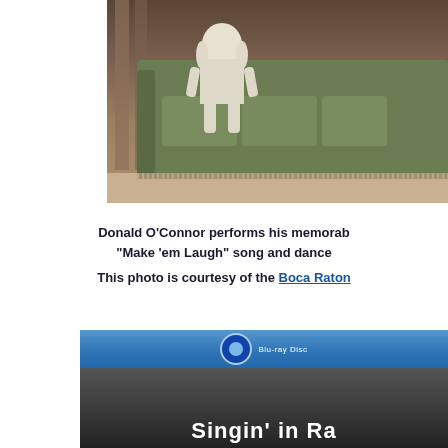[Figure (photo): Photo of a puppet or costume character with drooping head and dangling legs sitting on a green couch in a room with columns and a patterned rug]
Donald O'Connor performs his memorable "Make 'em Laugh" song and dance
This photo is courtesy of the Boca Raton [link]
[Figure (photo): Photo of a Blu-ray Disc case for Singin' in the Rain]